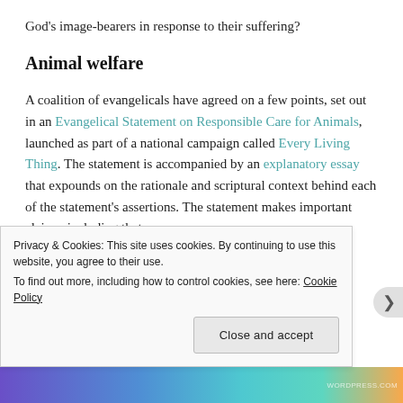God's image-bearers in response to their suffering?
Animal welfare
A coalition of evangelicals have agreed on a few points, set out in an Evangelical Statement on Responsible Care for Animals, launched as part of a national campaign called Every Living Thing. The statement is accompanied by an explanatory essay that expounds on the rationale and scriptural context behind each of the statement's assertions. The statement makes important claims, including that
Privacy & Cookies: This site uses cookies. By continuing to use this website, you agree to their use.
To find out more, including how to control cookies, see here: Cookie Policy
Close and accept